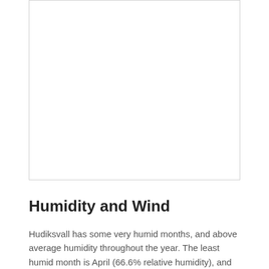[Figure (other): Large white/blank image area with a light border, appearing as a placeholder or cropped chart/image at the top of the page.]
Humidity and Wind
Hudiksvall has some very humid months, and above average humidity throughout the year. The least humid month is April (66.6% relative humidity), and the most